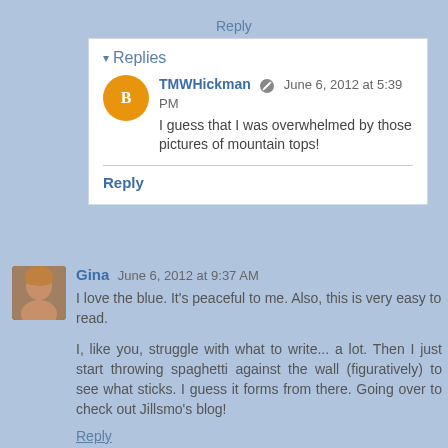Reply
▾ Replies
TMWHickman  June 6, 2012 at 5:39 PM
I guess that I was overwhelmed by those pictures of mountain tops!
Reply
Gina  June 6, 2012 at 9:37 AM
I love the blue. It's peaceful to me. Also, this is very easy to read.
I, like you, struggle with what to write... a lot. Then I just start throwing spaghetti against the wall (figuratively) to see what sticks. I guess it forms from there. Going over to check out Jillsmo's blog!
Reply